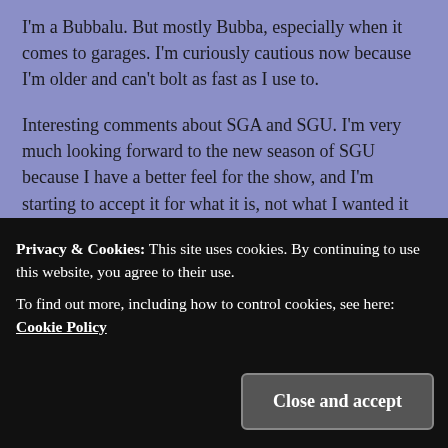I'm a Bubbalu. But mostly Bubba, especially when it comes to garages. I'm curiously cautious now because I'm older and can't bolt as fast as I use to.
Interesting comments about SGA and SGU. I'm very much looking forward to the new season of SGU because I have a better feel for the show, and I'm starting to accept it for what it is, not what I wanted it to be. I'm still not into the characters as much as I'd like, but more open than I was last year.
And I'm curious to know how McKay will fair. Since the tone of SGA was more light hearted, and SGU is much
Privacy & Cookies: This site uses cookies. By continuing to use this website, you agree to their use.
To find out more, including how to control cookies, see here: Cookie Policy
Close and accept
it, but not even a peep! Not the kind of reaction you want